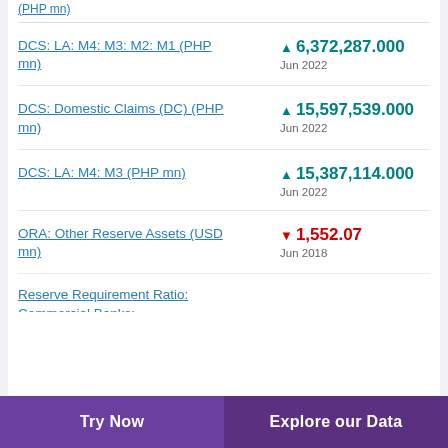(PHP mn)
DCS: LA: M4: M3: M2: M1 (PHP mn)
DCS: Domestic Claims (DC) (PHP mn)
DCS: LA: M4: M3 (PHP mn)
ORA: Other Reserve Assets (USD mn)
Reserve Requirement Ratio: Commercial Banks:
Try Now | Explore our Data